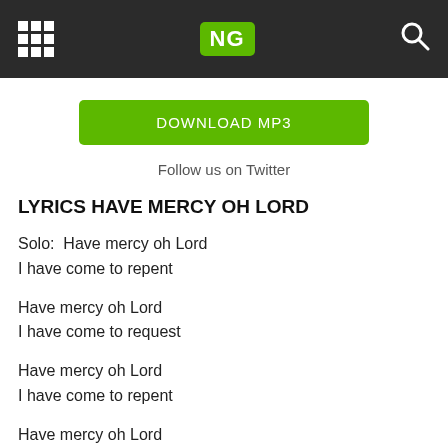NG
[Figure (other): Green DOWNLOAD MP3 button]
Follow us on Twitter
LYRICS HAVE MERCY OH LORD
Solo:  Have mercy oh Lord
I have come to repent
Have mercy oh Lord
I have come to request
Have mercy oh Lord
I have come to repent
Have mercy oh Lord